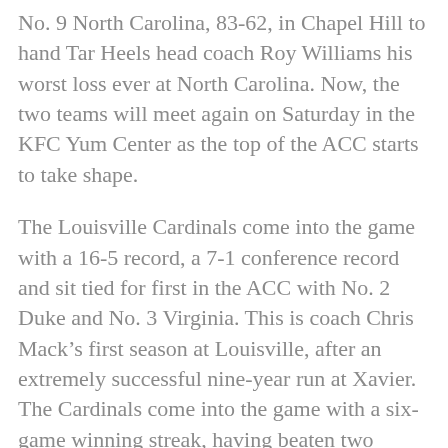No. 9 North Carolina, 83-62, in Chapel Hill to hand Tar Heels head coach Roy Williams his worst loss ever at North Carolina. Now, the two teams will meet again on Saturday in the KFC Yum Center as the top of the ACC starts to take shape.
The Louisville Cardinals come into the game with a 16-5 record, a 7-1 conference record and sit tied for first in the ACC with No. 2 Duke and No. 3 Virginia. This is coach Chris Mack's first season at Louisville, after an extremely successful nine-year run at Xavier. The Cardinals come into the game with a six-game winning streak, having beaten two ranked teams in the process. Averaging just under 80 points per game, Louisville scores a large portion of their points from the free throw line. Their led by 6-foot-8 sophomore forward Jordan Nwora, who's averaging